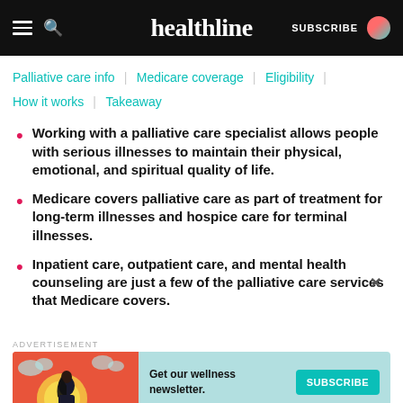healthline | SUBSCRIBE
Palliative care info | Medicare coverage | Eligibility | How it works | Takeaway
Working with a palliative care specialist allows people with serious illnesses to maintain their physical, emotional, and spiritual quality of life.
Medicare covers palliative care as part of treatment for long-term illnesses and hospice care for terminal illnesses.
Inpatient care, outpatient care, and mental health counseling are just a few of the palliative care services that Medicare covers.
[Figure (screenshot): Advertisement banner: Get our wellness newsletter. SUBSCRIBE button on a teal background with illustrated woman graphic.]